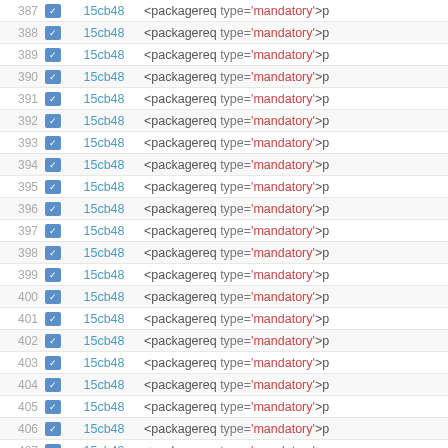| # | icon | hash | code |
| --- | --- | --- | --- |
| 387 |  | 15cb48 | <packagereq type='mandatory'>p |
| 388 |  | 15cb48 | <packagereq type='mandatory'>p |
| 389 |  | 15cb48 | <packagereq type='mandatory'>p |
| 390 |  | 15cb48 | <packagereq type='mandatory'>p |
| 391 |  | 15cb48 | <packagereq type='mandatory'>p |
| 392 |  | 15cb48 | <packagereq type='mandatory'>p |
| 393 |  | 15cb48 | <packagereq type='mandatory'>p |
| 394 |  | 15cb48 | <packagereq type='mandatory'>p |
| 395 |  | 15cb48 | <packagereq type='mandatory'>p |
| 396 |  | 15cb48 | <packagereq type='mandatory'>p |
| 397 |  | 15cb48 | <packagereq type='mandatory'>p |
| 398 |  | 15cb48 | <packagereq type='mandatory'>p |
| 399 |  | 15cb48 | <packagereq type='mandatory'>p |
| 400 |  | 15cb48 | <packagereq type='mandatory'>p |
| 401 |  | 15cb48 | <packagereq type='mandatory'>p |
| 402 |  | 15cb48 | <packagereq type='mandatory'>p |
| 403 |  | 15cb48 | <packagereq type='mandatory'>p |
| 404 |  | 15cb48 | <packagereq type='mandatory'>p |
| 405 |  | 15cb48 | <packagereq type='mandatory'>p |
| 406 |  | 15cb48 | <packagereq type='mandatory'>p |
| 407 |  | 15cb48 | <packagereq type='mandatory'>p |
| 408 |  | 15cb48 | <packagereq type='mandatory'>p |